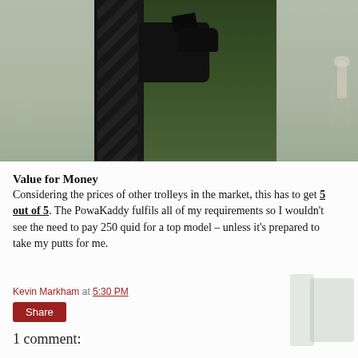[Figure (photo): Close-up photo of a black PowaKaddy golf trolley wheel/mechanism with grass background. Side panels show blurred golf course imagery with a golfer figure visible on the right.]
Value for Money
Considering the prices of other trolleys in the market, this has to get 5 out of 5. The PowaKaddy fulfils all of my requirements so I wouldn't see the need to pay 250 quid for a top model – unless it's prepared to take my putts for me.
Kevin Markham at 5:30 PM
Share
1 comment: